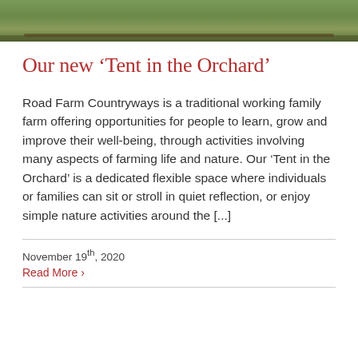[Figure (photo): Outdoor farm scene showing green grass and a wooden fence or log, viewed from above, with natural vegetation in the background.]
Our new 'Tent in the Orchard'
Road Farm Countryways is a traditional working family farm offering opportunities for people to learn, grow and improve their well-being, through activities involving many aspects of farming life and nature. Our 'Tent in the Orchard' is a dedicated flexible space where individuals or families can sit or stroll in quiet reflection, or enjoy simple nature activities around the [...]
November 19th, 2020
Read More ›